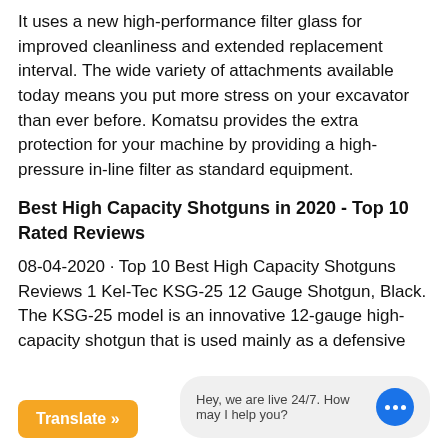It uses a new high-performance filter glass for improved cleanliness and extended replacement interval. The wide variety of attachments available today means you put more stress on your excavator than ever before. Komatsu provides the extra protection for your machine by providing a high-pressure in-line filter as standard equipment.
Best High Capacity Shotguns in 2020 - Top 10 Rated Reviews
08-04-2020 · Top 10 Best High Capacity Shotguns Reviews 1 Kel-Tec KSG-25 12 Gauge Shotgun, Black. The KSG-25 model is an innovative 12-gauge high-capacity shotgun that is used mainly as a defensive weapon. It features a 30.5-inch barrel with two magazine tubes, each holding 10- 12 rounds.
Js500 Concrete Vertical Revolving Pan And Rolling Type Mixer
...rtical Revolving Pan And Rolling Type